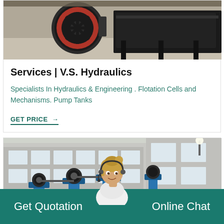[Figure (photo): Industrial machinery with a large red and black pulley/wheel mechanism on a concrete floor in a workshop setting]
Services | V.S. Hydraulics
Specialists In Hydraulics & Engineering . Flotation Cells and Mechanisms. Pump Tanks
GET PRICE →
[Figure (photo): Industrial blue flotation cell mechanisms with pulleys in front of a factory building]
Get Quotation    Online Chat